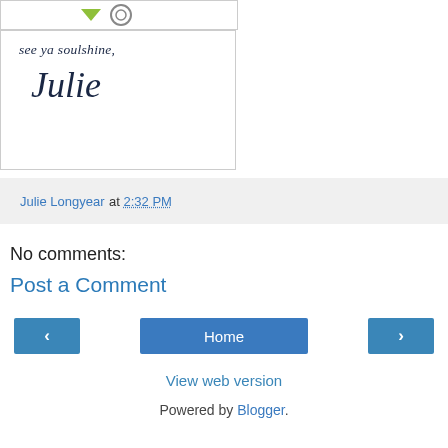[Figure (illustration): Top portion of a blog post image with social share icons including a green arrow/share icon and a target/email icon]
[Figure (illustration): Signature image reading 'see ya soulshine, Julie' in dark navy italic/cursive handwriting style text on white background with border]
Julie Longyear at 2:32 PM
No comments:
Post a Comment
Home
View web version
Powered by Blogger.